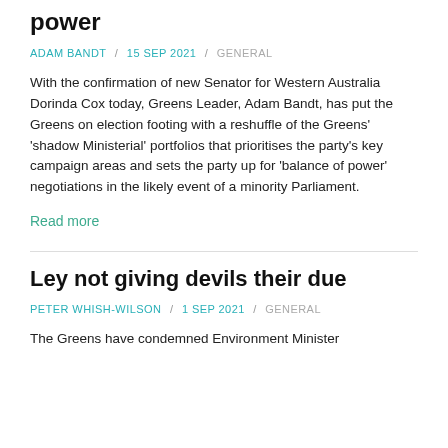power
ADAM BANDT / 15 SEP 2021 / GENERAL
With the confirmation of new Senator for Western Australia Dorinda Cox today, Greens Leader, Adam Bandt, has put the Greens on election footing with a reshuffle of the Greens' 'shadow Ministerial' portfolios that prioritises the party's key campaign areas and sets the party up for 'balance of power' negotiations in the likely event of a minority Parliament.
Read more
Ley not giving devils their due
PETER WHISH-WILSON / 1 SEP 2021 / GENERAL
The Greens have condemned Environment Minister